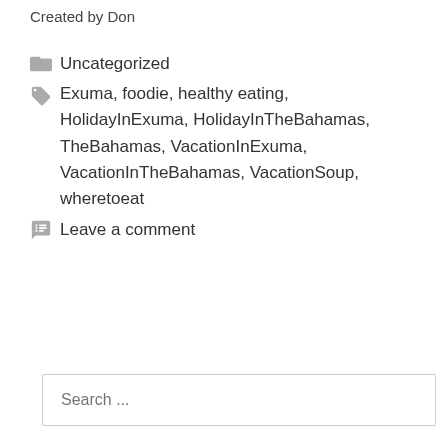Created by Don
Uncategorized
Exuma, foodie, healthy eating, HolidayInExuma, HolidayInTheBahamas, TheBahamas, VacationInExuma, VacationInTheBahamas, VacationSoup, wheretoeat
Leave a comment
Search ...